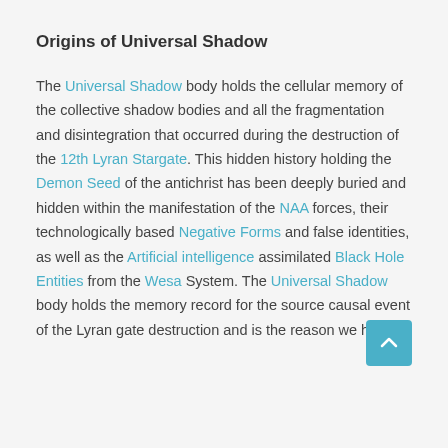Origins of Universal Shadow
The Universal Shadow body holds the cellular memory of the collective shadow bodies and all the fragmentation and disintegration that occurred during the destruction of the 12th Lyran Stargate. This hidden history holding the Demon Seed of the antichrist has been deeply buried and hidden within the manifestation of the NAA forces, their technologically based Negative Forms and false identities, as well as the Artificial intelligence assimilated Black Hole Entities from the Wesa System. The Universal Shadow body holds the memory record for the source causal event of the Lyran gate destruction and is the reason we have